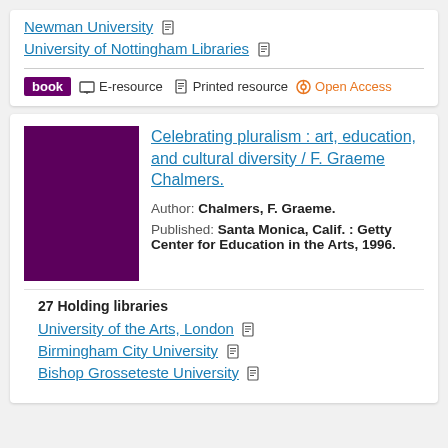Newman University
University of Nottingham Libraries
book  E-resource  Printed resource  Open Access
Celebrating pluralism : art, education, and cultural diversity / F. Graeme Chalmers.
Author: Chalmers, F. Graeme.
Published: Santa Monica, Calif. : Getty Center for Education in the Arts, 1996.
27 Holding libraries
University of the Arts, London
Birmingham City University
Bishop Grosseteste University